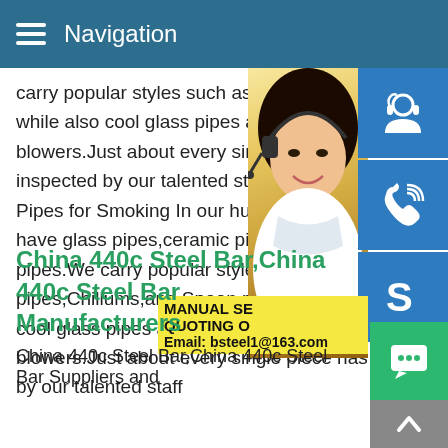Navigation
carry popular styles such as Steamrollers, pipes,Chillums,and Spoon pipes while also cool glass pipes and bowls made by talented blowers.Just about every single piece has been inspected by our talented staff Glass Pipes: Pipes for Smoking In our huge selection of have glass pipes,ceramic pipes,stone and pipes.We carry popular styles such as Steamrollers, pipes,Chillums,and Spoon pipes while also cool glass pipes and bowls made by talented blowers.Just about every single piece has been hand-picked and inspected by our talented staff
[Figure (photo): Asian woman with headset smiling, customer service photo with blue icon buttons for customer service, phone, and Skype, and yellow overlay with text MANUAL SE... QUOTING O... Email: bsteel1@163.com]
China 440c Steel Bar,China 440c Steel Bar Manufacturers
China 440c Steel Bar,China 440c Steel Bar Suppliers and